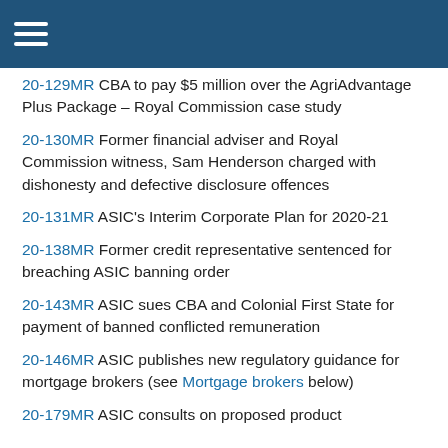20-129MR CBA to pay $5 million over the AgriAdvantage Plus Package – Royal Commission case study
20-130MR Former financial adviser and Royal Commission witness, Sam Henderson charged with dishonesty and defective disclosure offences
20-131MR ASIC's Interim Corporate Plan for 2020-21
20-138MR Former credit representative sentenced for breaching ASIC banning order
20-143MR ASIC sues CBA and Colonial First State for payment of banned conflicted remuneration
20-146MR ASIC publishes new regulatory guidance for mortgage brokers (see Mortgage brokers below)
20-179MR ASIC consults on proposed product